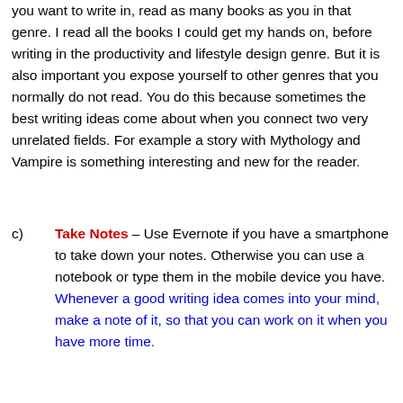you want to write in, read as many books as you in that genre. I read all the books I could get my hands on, before writing in the productivity and lifestyle design genre. But it is also important you expose yourself to other genres that you normally do not read. You do this because sometimes the best writing ideas come about when you connect two very unrelated fields. For example a story with Mythology and Vampire is something interesting and new for the reader.
c) Take Notes – Use Evernote if you have a smartphone to take down your notes. Otherwise you can use a notebook or type them in the mobile device you have. Whenever a good writing idea comes into your mind, make a note of it, so that you can work on it when you have more time.